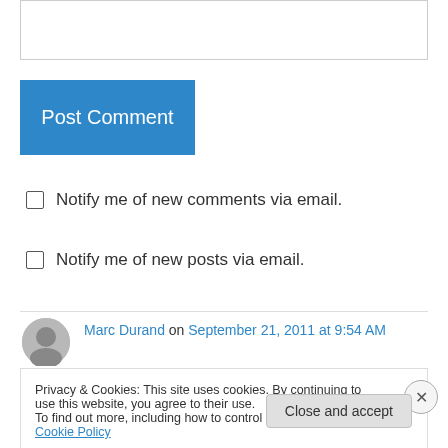[Figure (other): Text area input box (empty)]
Post Comment
Notify me of new comments via email.
Notify me of new posts via email.
Marc Durand on September 21, 2011 at 9:54 AM
Merci pour ses belles années sur 2 lames. Une
Privacy & Cookies: This site uses cookies. By continuing to use this website, you agree to their use.
To find out more, including how to control cookies, see here: Cookie Policy
Close and accept